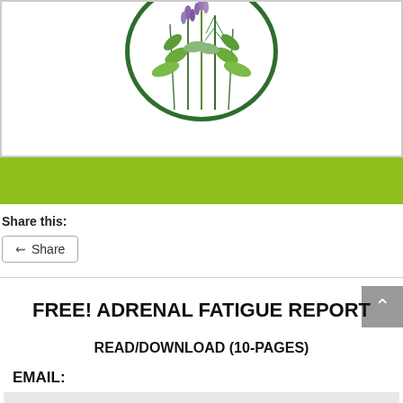[Figure (illustration): Circular logo with green border containing illustrated herbs and flowers including lavender and rosemary on white background]
Share this:
Share
FREE! ADRENAL FATIGUE REPORT
READ/DOWNLOAD (10-PAGES)
EMAIL: